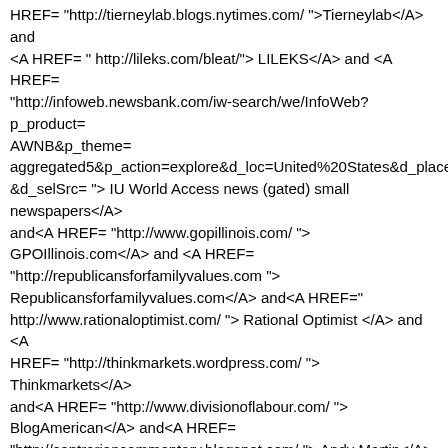HREF= "http://tierneylab.blogs.nytimes.com/ ">Tierneylab</A> and <A HREF= " http://lileks.com/bleat/"> LILEKS</A> and <A HREF= "http://infoweb.newsbank.com/iw-search/we/InfoWeb?p_product=AWNB&p_theme=aggregated5&p_action=explore&d_loc=United%20States&d_place=8&d_selSrc= "> IU World Access news (gated) small newspapers</A> and<A HREF= "http://www.gopillinois.com/ "> GPOIllinois.com</A> and <A HREF= "http://republicansforfamilyvalues.com "> Republicansforfamilyvalues.com</A> and<A HREF="http://www.rationaloptimist.com/ "> Rational Optimist </A> and <A HREF= "http://thinkmarkets.wordpress.com/ "> Thinkmarkets</A> and<A HREF= "http://www.divisionoflabour.com/ "> BlogAmerican</A> and<A HREF= "http://contrariancommentary.blogspot.com/ "> Andy Martin</A> and <A HREF= "http://www.commentarymagazine.com/blogs/index.php/category/com s "> Commentary magazine</A> and<A HREF= "http://www.firstthings.com/blogs/theanchoress/2010/01/27/obamapon prompta- symptom-of-distress/ "> Anchoress-First Things</A> and<A HREF=" "> sdfds</A> and and<A HREF=" "> sdfds</A> and<A HREF=" "> sdfds</A> and <A HREF=" "> sdfds</A> and<A HREF=" "> sdfds</A> and<A HREF=" "> sdfds</A> and<A HREF= " "> sdfds</A> and.